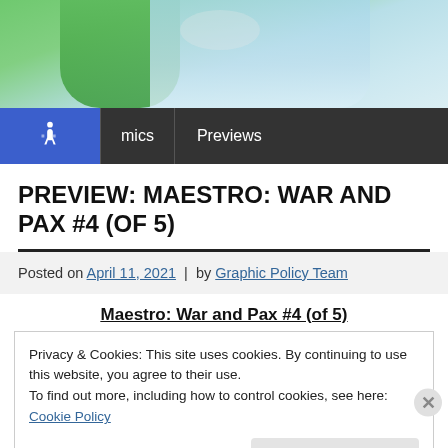[Figure (illustration): Partial illustration of a comic book character (green/blue superhero figure, cropped at top)]
Comics | Previews
PREVIEW: MAESTRO: WAR AND PAX #4 (OF 5)
Posted on April 11, 2021 | by Graphic Policy Team
Maestro: War and Pax #4 (of 5)
Privacy & Cookies: This site uses cookies. By continuing to use this website, you agree to their use.
To find out more, including how to control cookies, see here: Cookie Policy